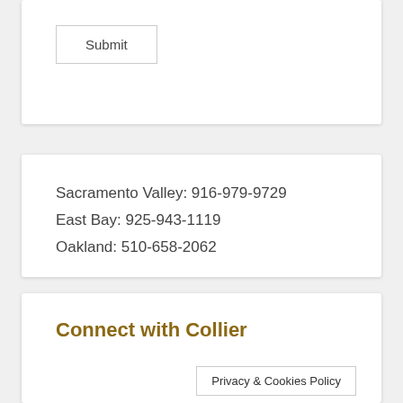Submit
Sacramento Valley: 916-979-9729
East Bay: 925-943-1119
Oakland: 510-658-2062
Connect with Collier
Privacy & Cookies Policy